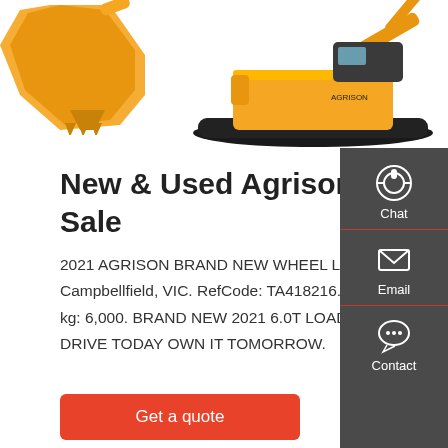[Figure (photo): Yellow construction excavator bucket on the left and a full yellow Agrison excavator/loader on the right against white background]
New & Used Agrison Loaders For Sale
2021 AGRISON BRAND NEW WHEEL LOADER / FRONT END LOADER TX930L $29,990. Loaders / Wheel. Campbellfield, VIC. RefCode: TA418216. Category: Articulated. Net engine power SAE rated - kW: 61. Operating Weight - kg: 6,000. BRAND NEW 2021 6.0T LOADER 2000KG LIFT CAPACITY @ A CRAZY $29,990 SLASH THE PRICES TEST DRIVE TODAY OWN IT TOMORROW.
[Figure (infographic): Dark grey sidebar with Chat (headset icon), Email (envelope icon), and Contact (speech bubble icon) buttons]
Get a quote